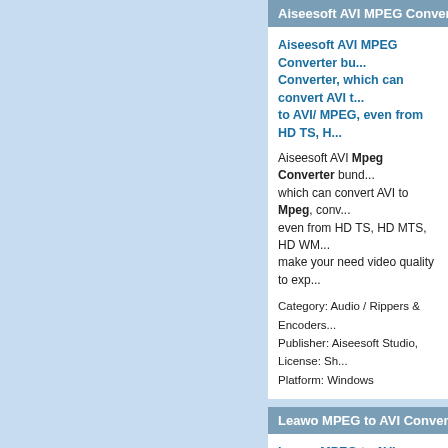Aiseesoft AVI MPEG Converte...
Aiseesoft AVI MPEG Converter bu... Converter, which can convert AVI ... to AVI/ MPEG, even from HD TS, H...
Aiseesoft AVI Mpeg Converter bund... which can convert AVI to Mpeg, conv... even from HD TS, HD MTS, HD WM... make your need video quality to exp...
Category: Audio / Rippers & Encoders
Publisher: Aiseesoft Studio, License: Sh...
Platform: Windows
Leawo MPEG to AVI Converte...
Leawo MPEG to AVI Converter is a... convert MPEG to AVI or popular a... playback on various media players...
Leawo Mpeg to AVI Converter is a u... to AVI format and into common audio... can set video effects through the vid... cropped. Thus you can view AVI on y...
Category: DVD & Video / Video Convers...
Publisher: Leawo Software, License: Sh...
Platform: Windows
MediaVideoConverter AVI MP...